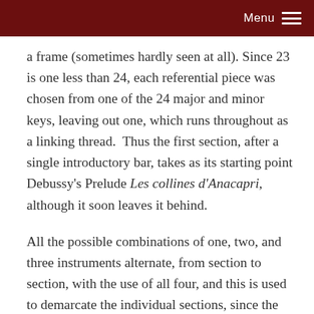Menu
a frame (sometimes hardly seen at all). Since 23 is one less than 24, each referential piece was chosen from one of the 24 major and minor keys, leaving out one, which runs throughout as a linking thread. Thus the first section, after a single introductory bar, takes as its starting point Debussy's Prelude Les collines d'Anacapri, although it soon leaves it behind.
All the possible combinations of one, two, and three instruments alternate, from section to section, with the use of all four, and this is used to demarcate the individual sections, since the musical argument usually cuts across the division into 'frames'. I decided to determine both the